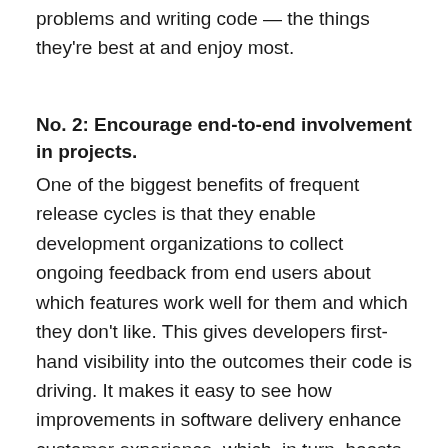problems and writing code — the things they're best at and enjoy most.
No. 2: Encourage end-to-end involvement in projects.
One of the biggest benefits of frequent release cycles is that they enable development organizations to collect ongoing feedback from end users about which features work well for them and which they don't like. This gives developers first-hand visibility into the outcomes their code is driving. It makes it easy to see how improvements in software delivery enhance customer experience, which, in turn, boosts organizational performance overall.
Furthermore, in DevOps practices (incorporating CI/CD), developers are encouraged to communicate